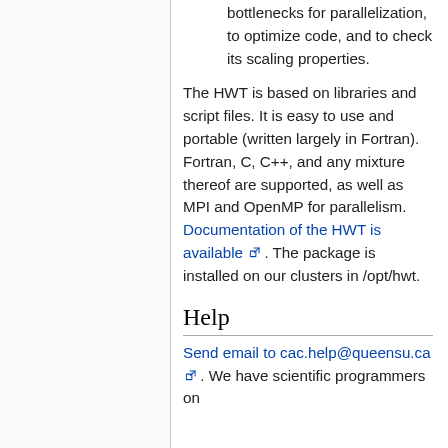bottlenecks for parallelization, to optimize code, and to check its scaling properties.
The HWT is based on libraries and script files. It is easy to use and portable (written largely in Fortran). Fortran, C, C++, and any mixture thereof are supported, as well as MPI and OpenMP for parallelism. Documentation of the HWT is available. The package is installed on our clusters in /opt/hwt.
Help
Send email to cac.help@queensu.ca. We have scientific programmers on